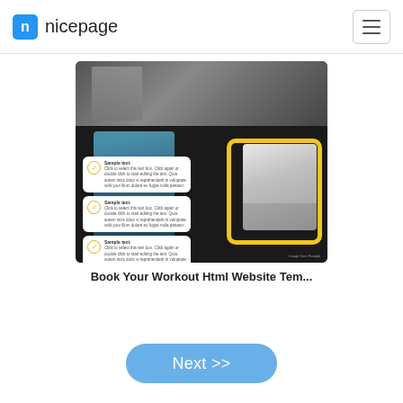nicepage
[Figure (screenshot): Book Your Workout website template thumbnail showing a fitness/gym webpage with a woman doing TRX workout, checklist items, and yellow decorative frame border]
Book Your Workout Html Website Tem...
Next >>